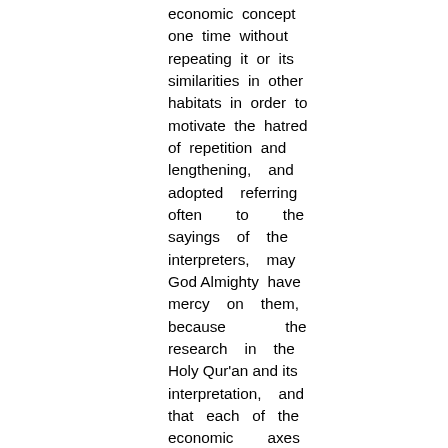economic concept one time without repeating it or its similarities in other habitats in order to motivate the hatred of repetition and lengthening, and adopted referring often to the sayings of the interpreters, may God Almighty have mercy on them, because the research in the Holy Qur'an and its interpretation, and that each of the economic axes mentioned in the research fit to be a title For extended study for graduate students. The research required that I put it on the forefront and three topics that were collected in each